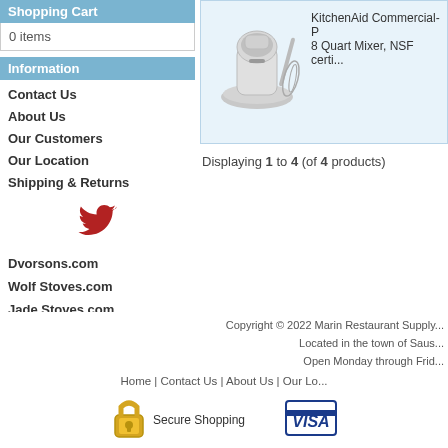Shopping Cart
0 items
Information
Contact Us
About Us
Our Customers
Our Location
Shipping & Returns
[Figure (logo): Twitter bird icon in red/dark red]
Dvorsons.com
Wolf Stoves.com
Jade Stoves.com
THOR Stove.com
NXR Stoves.com
Dynasty Stoves.com
[Figure (photo): KitchenAid Commercial 8 Quart Mixer NSF certified, shown with attachments]
KitchenAid Commercial-P 8 Quart Mixer, NSF certi...
Displaying 1 to 4 (of 4 products)
Copyright © 2022 Marin Restaurant Supply Located in the town of Saus... Open Monday through Frid...
Home | Contact Us | About Us | Our Lo...
[Figure (illustration): Gold padlock icon representing secure shopping]
Secure Shopping
[Figure (logo): VISA credit card logo]